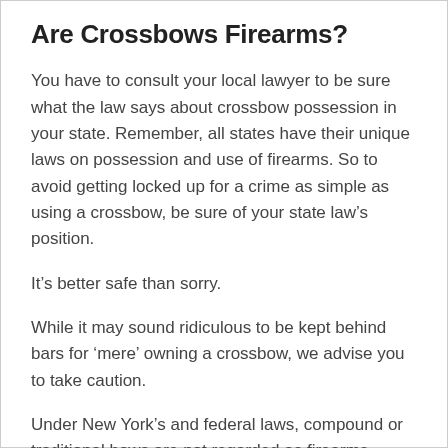Are Crossbows Firearms?
You have to consult your local lawyer to be sure what the law says about crossbow possession in your state. Remember, all states have their unique laws on possession and use of firearms. So to avoid getting locked up for a crime as simple as using a crossbow, be sure of your state law’s position.
It’s better safe than sorry.
While it may sound ridiculous to be kept behind bars for ‘mere’ owning a crossbow, we advise you to take caution.
Under New York’s and federal laws, compound or traditional bows are not regarded as firearms. However, some local lawyers advise persons who wish to go on a hunt with crossbows to take a petition for the restoration of their rights.